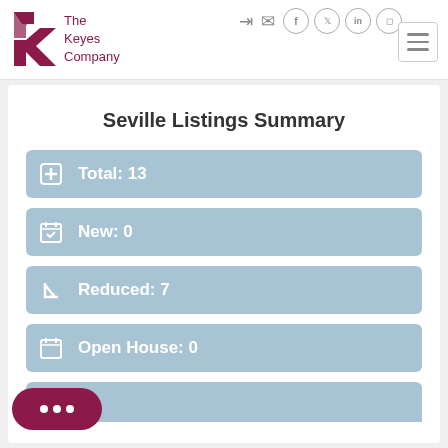[Figure (logo): The Keyes Company logo with red/maroon K graphic and company name]
Seville Listings Summary
Total: 13
New: 0
Reduced: 7
Open House: 0